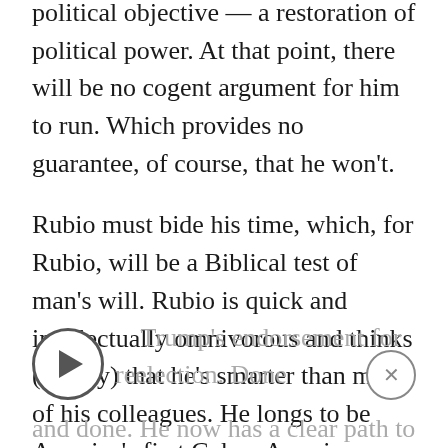political objective — a restoration of political power. At that point, there will be no cogent argument for him to run. Which provides no guarantee, of course, that he won't.
Rubio must bide his time, which, for Rubio, will be a Biblical test of man's will. Rubio is quick and intellectually omnivorous and thinks (rightly) that he's smarter than most of his colleagues. He longs to be America's first Cuban American president. He may be one day, but not this day. He spent the winter tiptoeing through the Palm Beach tulips, first to avoid a primary from Ivanka and then to secure Trump's endorsement for reelection. Done and done. He now has a clear path to